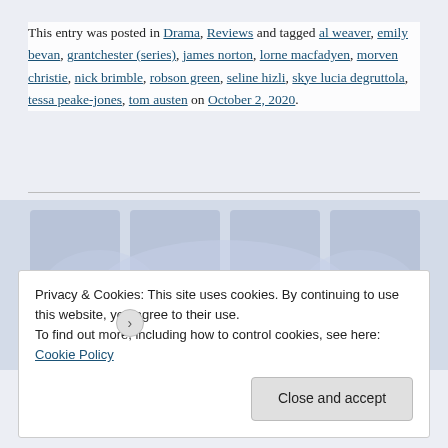This entry was posted in Drama, Reviews and tagged al weaver, emily bevan, grantchester (series), james norton, lorne macfadyen, morven christie, nick brimble, robson green, seline hizli, skye lucia degruttola, tessa peake-jones, tom austen on October 2, 2020.
[Figure (screenshot): Background image area for next post preview with blue tinted TV/media imagery]
Quick TV Episode Review – 'Grantchester', Series 3, Episode 2
Privacy & Cookies: This site uses cookies. By continuing to use this website, you agree to their use.
To find out more, including how to control cookies, see here: Cookie Policy
Close and accept